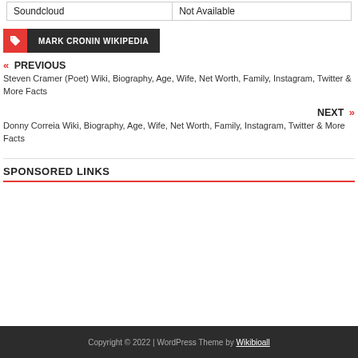| Soundcloud | Not Available |
| --- | --- |
MARK CRONIN WIKIPEDIA
PREVIOUS
Steven Cramer (Poet) Wiki, Biography, Age, Wife, Net Worth, Family, Instagram, Twitter & More Facts
NEXT
Donny Correia Wiki, Biography, Age, Wife, Net Worth, Family, Instagram, Twitter & More Facts
SPONSORED LINKS
Copyright © 2022 | WordPress Theme by Wikibioall